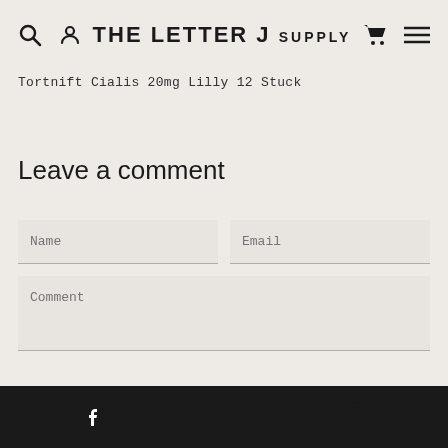THE LETTER J SUPPLY
Tortnift Cialis 20mg Lilly 12 Stuck
Leave a comment
Name | Email | Comment (form fields)
Facebook | Twitter | Pinterest icons